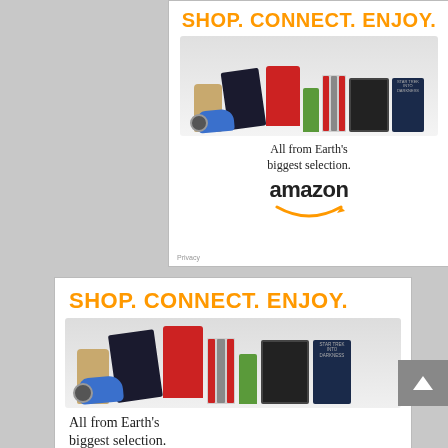[Figure (advertisement): Amazon ad banner (top) with 'SHOP. CONNECT. ENJOY.' headline in orange, product images (purse, PS4, KitchenAid mixer, books, Kindle, Star Trek Blu-ray), tagline 'All from Earth's biggest selection.' and Amazon logo with smile arrow. Privacy link in bottom left.]
[Figure (advertisement): Amazon ad banner (bottom, larger/cropped) with 'SHOP. CONNECT. ENJOY.' headline in orange, same product images, tagline 'All from Earth's biggest selection.' Scroll-up button visible on right edge.]